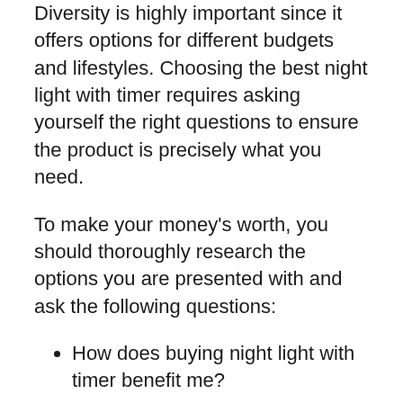Diversity is highly important since it offers options for different budgets and lifestyles. Choosing the best night light with timer requires asking yourself the right questions to ensure the product is precisely what you need.
To make your money's worth, you should thoroughly research the options you are presented with and ask the following questions:
How does buying night light with timer benefit me?
Is it worth the price?
Which night light with timer is the best option to go for in the nowadays market?